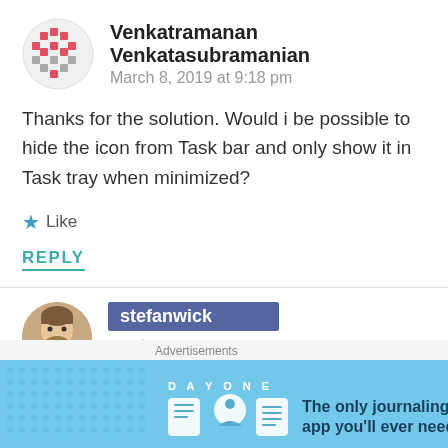[Figure (illustration): Abstract pixel/mosaic-style avatar for Venkatramanan Venkatasubramanian, red and gray pixel squares arranged in a circular/avatar pattern]
Venkatramanan Venkatasubramanian
March 8, 2019 at 9:18 pm
Thanks for the solution. Would i be possible to hide the icon from Task bar and only show it in Task tray when minimized?
★ Like
REPLY
[Figure (photo): Profile photo of stefanwick, bearded man with brown hair]
stefanwick
March 9, 2019 at 5:11 pm
Advertisements
[Figure (illustration): Day One journaling app advertisement banner with light blue background, DAY ONE logo and icons, text: The only journaling app you'll ever need.]